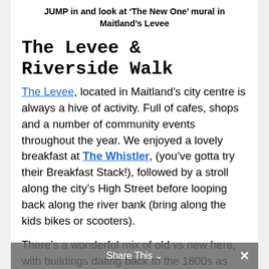JUMP in and look at ‘The New One’ mural in Maitland’s Levee
The Levee & Riverside Walk
The Levee, located in Maitland’s city centre is always a hive of activity. Full of cafes, shops and a number of community events throughout the year. We enjoyed a lovely breakfast at The Whistler, (you’ve gotta try their Breakfast Stack!), followed by a stroll along the city’s High Street before looping back along the river bank (bring along the kids bikes or scooters).
There’s a wonderful mix of old vs new here, with buildings dating back to the 1800s as well as a splash of colour with some